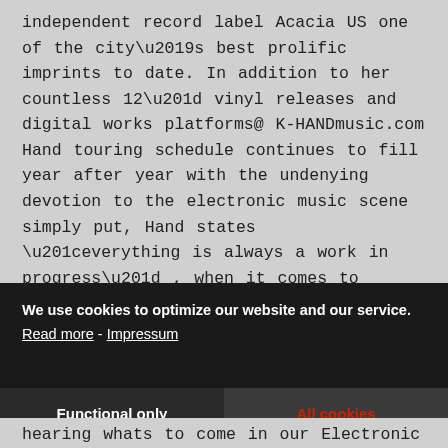independent record label Acacia US one of the city’s best prolific imprints to date. In addition to her countless 12” vinyl releases and digital works platforms@ K-HANDmusic.com Hand touring schedule continues to fill year after year with the undenying devotion to the electronic music scene simply put, Hand states “everything is always a work in progress” , when it comes to “what’s next?” that is the Answer.
We use cookies to optimize our website and our service. Read more - Impressum
Functional only
All cookies
hearing whats to come in our Electronic